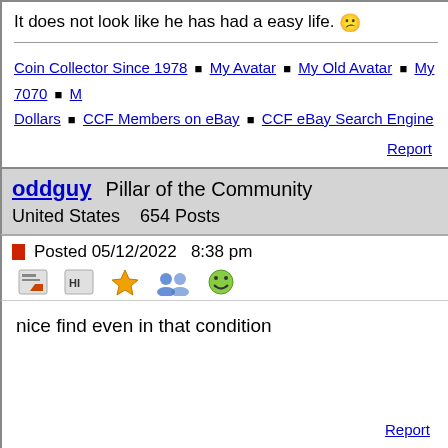It does not look like he has had a easy life. 😕
Coin Collector Since 1978 ■ My Avatar ■ My Old Avatar ■ My 7070 ■ M... Dollars ■ CCF Members on eBay ■ CCF eBay Search Engine
Report
oddguy  Pillar of the Community
United States   654 Posts
Posted 05/12/2022  8:38 pm
nice find even in that condition
Report
Jipe  New Member